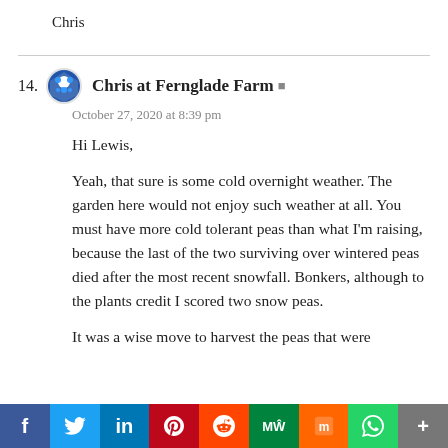Chris
14. Chris at Fernglade Farm
October 27, 2020 at 8:39 pm

Hi Lewis,

Yeah, that sure is some cold overnight weather. The garden here would not enjoy such weather at all. You must have more cold tolerant peas than what I'm raising, because the last of the two surviving over wintered peas died after the most recent snowfall. Bonkers, although to the plants credit I scored two snow peas.

It was a wise move to harvest the peas that were
f  Twitter  in  Pinterest  Reddit  MW  Mix  WhatsApp  +